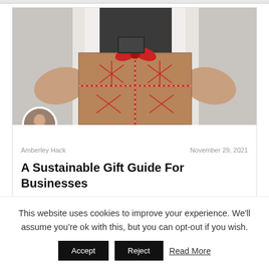[Figure (photo): Person holding a brown kraft paper wrapped gift box with red and white twine/string decorations in a star/snowflake pattern, tied with a red ribbon bow at the top]
Amberley Hack    November 29, 2021
A Sustainable Gift Guide For Businesses
This website uses cookies to improve your experience. We'll assume you're ok with this, but you can opt-out if you wish.
Accept   Reject   Read More